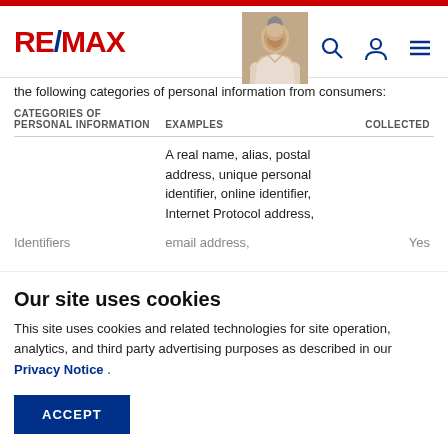RE/MAX
the following categories of personal information from consumers:
| CATEGORIES OF PERSONAL INFORMATION | EXAMPLES | COLLECTED |
| --- | --- | --- |
|  | A real name, alias, postal address, unique personal identifier, online identifier, Internet Protocol address, email address, |  |
| Identifiers | email address, | Yes |
Our site uses cookies
This site uses cookies and related technologies for site operation, analytics, and third party advertising purposes as described in our Privacy Notice .